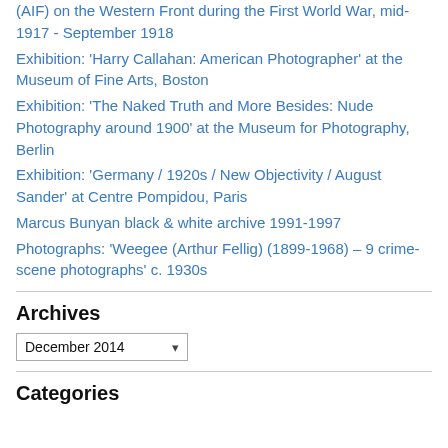(AIF) on the Western Front during the First World War, mid-1917 - September 1918
Exhibition: 'Harry Callahan: American Photographer' at the Museum of Fine Arts, Boston
Exhibition: 'The Naked Truth and More Besides: Nude Photography around 1900' at the Museum for Photography, Berlin
Exhibition: 'Germany / 1920s / New Objectivity / August Sander' at Centre Pompidou, Paris
Marcus Bunyan black & white archive 1991-1997
Photographs: 'Weegee (Arthur Fellig) (1899-1968) – 9 crime-scene photographs' c. 1930s
Archives
December 2014 (dropdown)
Categories